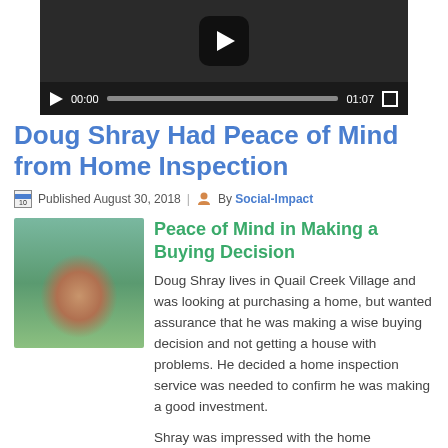[Figure (screenshot): Video player showing a paused video with controls: play button, time 00:00, progress bar, duration 01:07, fullscreen button]
Doug Shray Had Peace of Mind from Home Inspection
Published August 30, 2018 | By Social-Impact
[Figure (photo): Photo of Doug Shray, a man in a blue polo shirt smiling, with green foliage in the background]
Peace of Mind in Making a Buying Decision
Doug Shray lives in Quail Creek Village and was looking at purchasing a home, but wanted assurance that he was making a wise buying decision and not getting a house with problems. He decided a home inspection service was needed to confirm he was making a good investment.
Shray was impressed with the home inspection he received from Slab 2